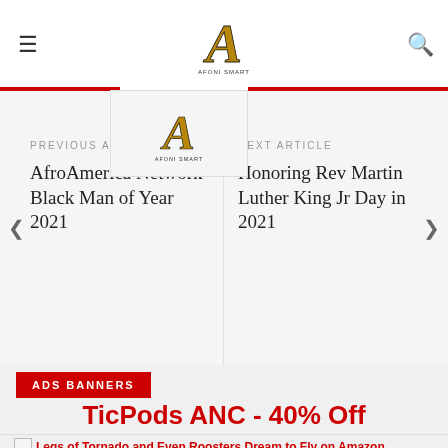[Figure (logo): Afoni Smart website logo - decorative letter A with script text]
≡   [Logo: Afoni Smart]   🔍
PREVIOUS ARTICLE
AfroAmerica Network Black Man of Year 2021 / Aboni Séba:
NEXT ARTICLE
Honoring Rev Martin Luther King Jr Day in 2021
[Figure (logo): Afoni Smart logo in dropdown panel]
ADS BANNERS
TicPods ANC - 40% Off
Legs of Tornado and Even Roosters Dream to Fly on Amazon